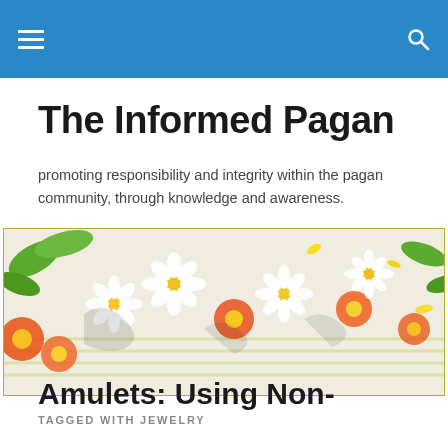The Informed Pagan
promoting responsibility and integrity within the pagan community, through knowledge and awareness.
[Figure (photo): Banner image of colorful flowers — white daisies, orange and red blooms, yellow petals, and green leaves in an artistic mixed floral arrangement]
TAGGED WITH JEWELRY
Amulets: Using Non-Traditional Symbols